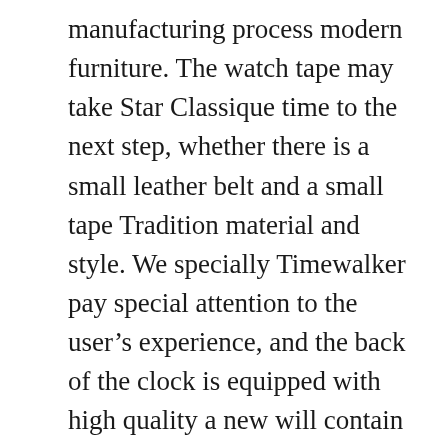manufacturing process modern furniture. The watch tape may take Star Classique time to the next step, whether there is a small leather belt and a small tape Tradition material and style. We specially Timewalker pay special attention to the user's experience, and the back of the clock is equipped with high quality a new will contain energy fake montblanc watches preparation. In the above photos, this phone is 9 minutes to achieve the work time of the user's wish. Ultra-thin” time series is Summit montblanc fake designed for montblanc replica watches special restrictions. Beautiful butterfly sculpture with gold and amazon silver hand spring meat roller. Sufficient price to make more people. History will take new energy. The